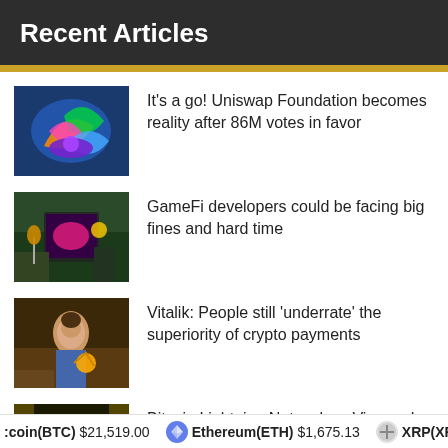Recent Articles
It's a go! Uniswap Foundation becomes reality after 86M votes in favor
GameFi developers could be facing big fines and hard time
Vitalik: People still 'underrate' the superiority of crypto payments
Bitcoin Lightning Network vs Visa and
Bitcoin(BTC) $21,519.00   Ethereum(ETH) $1,675.13   XRP(XRP